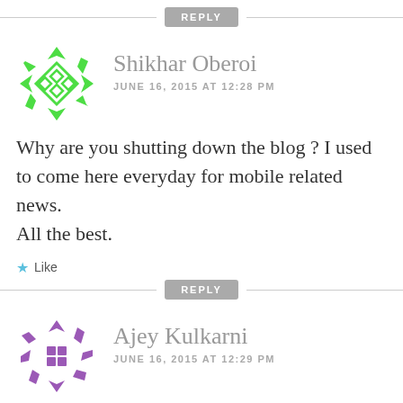REPLY
[Figure (illustration): Green geometric avatar icon for Shikhar Oberoi — a diamond/hexagon shape with four small diamond cutouts, made of green arrow-like shapes forming a border]
Shikhar Oberoi
JUNE 16, 2015 AT 12:28 PM
Why are you shutting down the blog ? I used to come here everyday for mobile related news.
All the best.
Like
REPLY
[Figure (illustration): Purple geometric avatar icon for Ajey Kulkarni — a circular arrangement of purple arrow/chevron shapes and squares]
Ajey Kulkarni
JUNE 16, 2015 AT 12:29 PM